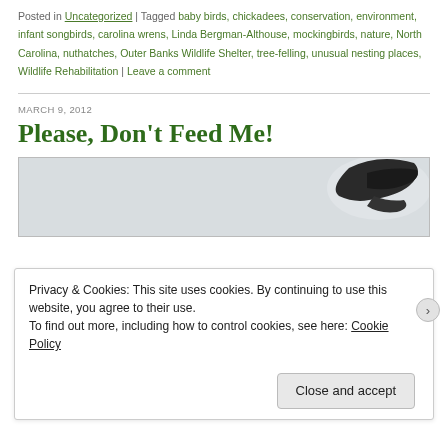Posted in Uncategorized | Tagged baby birds, chickadees, conservation, environment, infant songbirds, carolina wrens, Linda Bergman-Althouse, mockingbirds, nature, North Carolina, nuthatches, Outer Banks Wildlife Shelter, tree-felling, unusual nesting places, Wildlife Rehabilitation | Leave a comment
MARCH 9, 2012
Please, Don't Feed Me!
[Figure (photo): Partial photo of a bird with dark feathers visible against a light gray background]
Privacy & Cookies: This site uses cookies. By continuing to use this website, you agree to their use. To find out more, including how to control cookies, see here: Cookie Policy
Close and accept